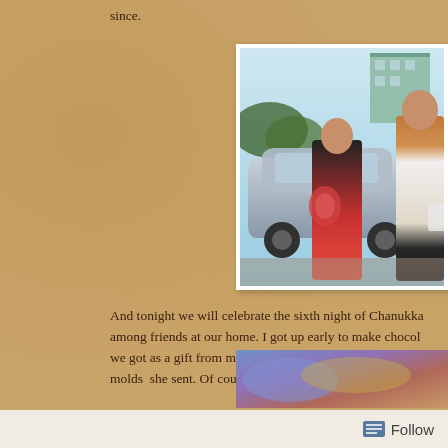since.
[Figure (photo): Two girls standing next to a silver car in a parking area, with a green building in the background. One girl in a dark shirt holds a colorful bag, the other stands to the right.]
And tonight we will celebrate the sixth night of Chanukka among friends at our home. I got up early to make chocol we got as a gift from my younger sister, boo. We'll make molds  she sent. Of course we will make latkes too.
[Figure (photo): Partial view of food items, appears to be Chanukah celebration food.]
Follow